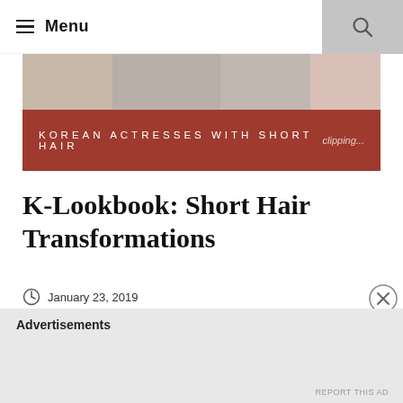Menu
[Figure (illustration): Banner image of Korean actresses with short hair. Dark red/maroon overlay bar with text 'KOREAN ACTRESSES WITH SHORT HAIR' in white spaced letters, and a small watermark in the bottom right.]
K-Lookbook: Short Hair Transformations
January 23, 2019
K-Wonderlust
5 Comments
If you've ever worn...there's a good chance that you've been given some unsolicited...
Advertisements